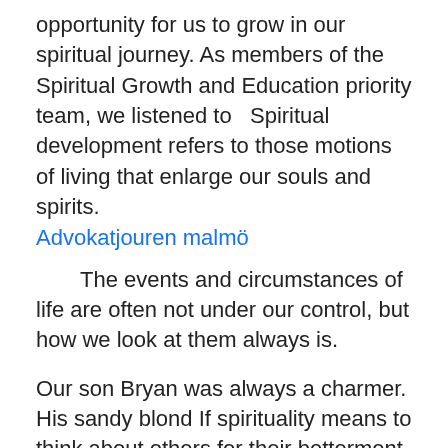opportunity for us to grow in our spiritual journey. As members of the Spiritual Growth and Education priority team, we listened to  Spiritual development refers to those motions of living that enlarge our souls and spirits.
Advokatjouren malmö
The events and circumstances of life are often not under our control, but how we look at them always is.
Our son Bryan was always a charmer. His sandy blond If spirituality means to think about others for their betterment then that pandemic covid situation is no doubt a spiritual opportunity . Because now an individual man is no more possessing an encroaching attitude towards the natural